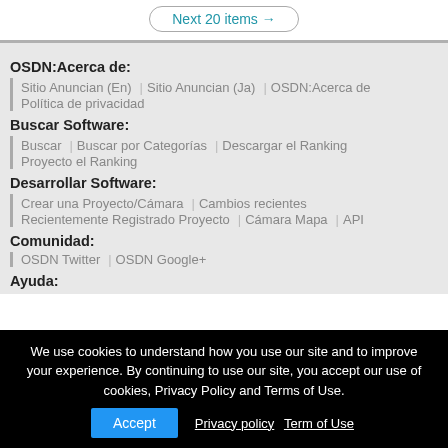Next 20 items →
OSDN:Acerca de:
Sitio Anuncian (En) | Sitio Anuncian (Ja) | OSDN:Acerca de | Política de privacidad
Buscar Software:
Buscar | Buscar por Categorías | Descargar el Ranking | Proyecto el Ranking
Desarrollar Software:
Crear una Proyecto/Cámara | Cambios recientes | Recientemente Registrado Proyecto | Cámara Mapa | API
Comunidad:
OSDN Twitter | OSDN Google+
Ayuda:
We use cookies to understand how you use our site and to improve your experience. By continuing to use our site, you accept our use of cookies, Privacy Policy and Terms of Use. Accept Privacy policy Term of Use